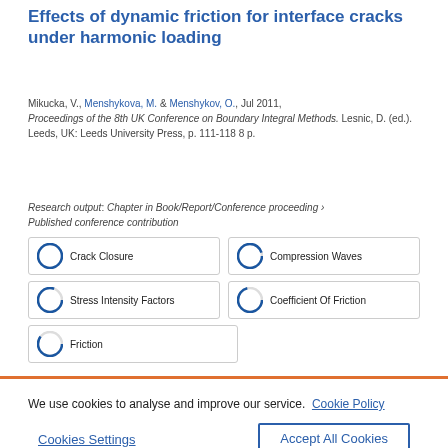Effects of dynamic friction for interface cracks under harmonic loading
Mikucka, V., Menshykova, M. & Menshykov, O., Jul 2011, Proceedings of the 8th UK Conference on Boundary Integral Methods. Lesnic, D. (ed.). Leeds, UK: Leeds University Press, p. 111-118 8 p.
Research output: Chapter in Book/Report/Conference proceeding › Published conference contribution
100% Crack Closure
93% Compression Waves
80% Stress Intensity Factors
70% Coefficient Of Friction
60% Friction
We use cookies to analyse and improve our service. Cookie Policy
Cookies Settings
Accept All Cookies